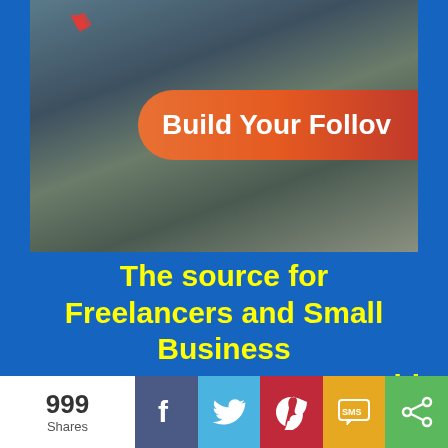[Figure (photo): Photo of a person working on a laptop with an orange juice nearby, overlaid with a coral/orange rounded banner reading 'Build Your Follov' (text partially cut off), and a red heart decoration in the upper left]
The source for Freelancers and Small Business resources,entrepreneurship ,and business marketing. We also feature valuable content on how to Make
[Figure (infographic): Social share bar showing 999 Shares, with buttons for Facebook, Twitter, Pinterest, SMS, and a generic share icon]